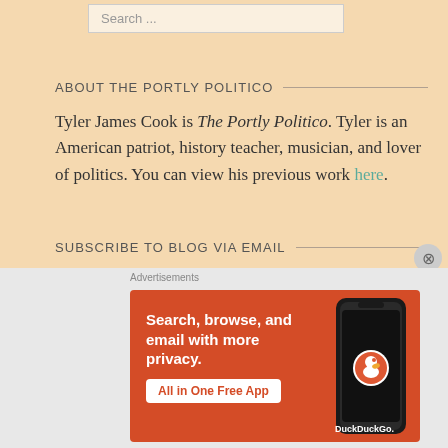Search ...
ABOUT THE PORTLY POLITICO
Tyler James Cook is The Portly Politico. Tyler is an American patriot, history teacher, musician, and lover of politics. You can view his previous work here.
SUBSCRIBE TO BLOG VIA EMAIL
Enter your email address to subscribe to this blog and receive notifications of new posts by email.
[Figure (screenshot): DuckDuckGo advertisement banner on orange/red background with text 'Search, browse, and email with more privacy.' and 'All in One Free App' button, alongside a phone mockup with DuckDuckGo logo.]